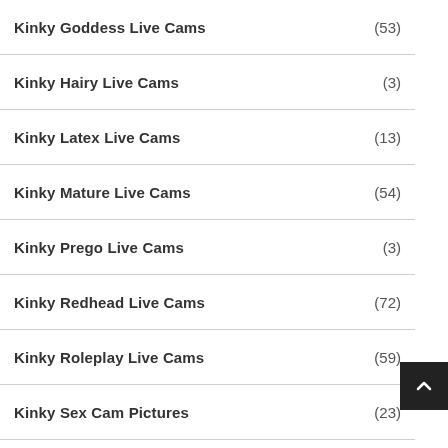Kinky Goddess Live Cams (53)
Kinky Hairy Live Cams (3)
Kinky Latex Live Cams (13)
Kinky Mature Live Cams (54)
Kinky Prego Live Cams (3)
Kinky Redhead Live Cams (72)
Kinky Roleplay Live Cams (59)
Kinky Sex Cam Pictures (23)
Kinky Sex Toy Live Cams (28)
Kinky Slave Live Cams (27)
Kinky Teens Live Cams (2??)
Trouble Makers (7)